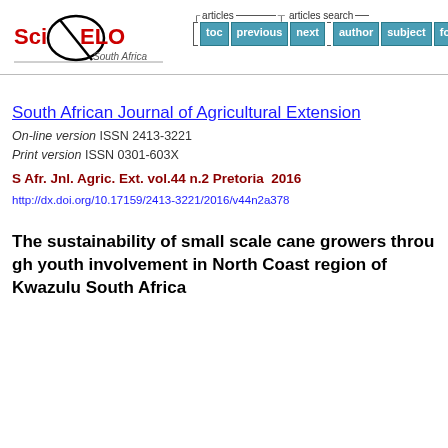[Figure (logo): SciELO South Africa logo with navigation buttons for articles (toc, previous, next) and articles search (author, subject, fo...)]
South African Journal of Agricultural Extension
On-line version ISSN 2413-3221
Print version ISSN 0301-603X
S Afr. Jnl. Agric. Ext. vol.44 n.2 Pretoria  2016
http://dx.doi.org/10.17159/2413-3221/2016/v44n2a378
The sustainability of small scale cane growers through youth involvement in North Coast region of Kwazulu South Africa